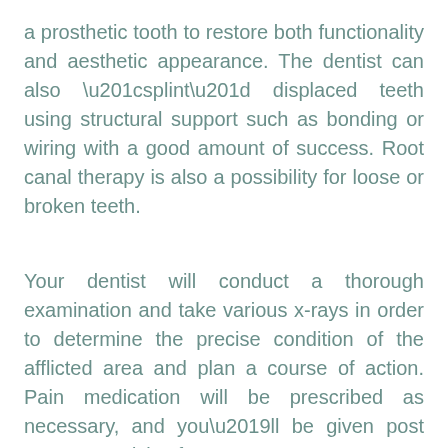a prosthetic tooth to restore both functionality and aesthetic appearance. The dentist can also “splint” displaced teeth using structural support such as bonding or wiring with a good amount of success. Root canal therapy is also a possibility for loose or broken teeth.
Your dentist will conduct a thorough examination and take various x-rays in order to determine the precise condition of the afflicted area and plan a course of action. Pain medication will be prescribed as necessary, and you’ll be given post treatment advice for your recovery.